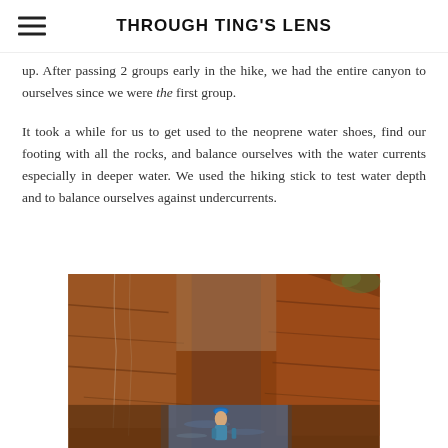THROUGH TING'S LENS
up. After passing 2 groups early in the hike, we had the entire canyon to ourselves since we were the first group.
It took a while for us to get used to the neoprene water shoes, find our footing with all the rocks, and balance ourselves with the water currents especially in deeper water. We used the hiking stick to test water depth and to balance ourselves against undercurrents.
[Figure (photo): A canyon with reddish-brown rock walls, a blue-hatted hiker standing in water at the base of the canyon.]